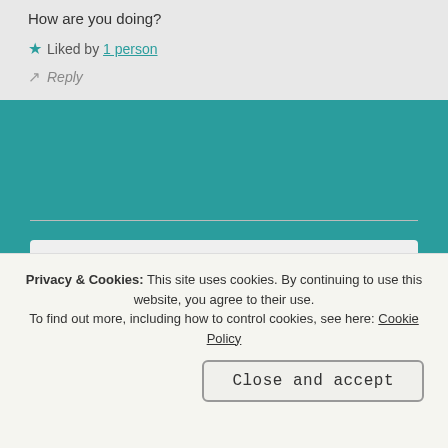How are you doing?
★ Liked by 1 person
↗ Reply
JOANNA says: SEP 24, 2020 AT 02:26
I'm doing okay right now. Better than last week. Enjoying cooler weather here. Thank you for asking! ❤
Privacy & Cookies: This site uses cookies. By continuing to use this website, you agree to their use. To find out more, including how to control cookies, see here: Cookie Policy
Close and accept